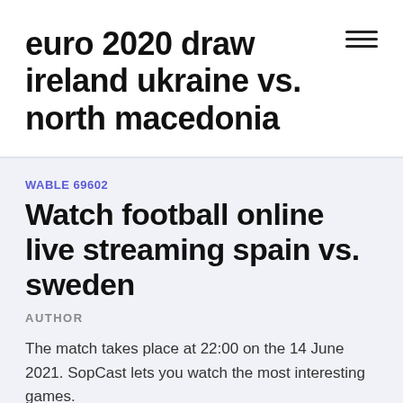euro 2020 draw ireland ukraine vs. north macedonia
WABLE 69602
Watch football online live streaming spain vs. sweden
AUTHOR
The match takes place at 22:00 on the 14 June 2021. SopCast lets you watch the most interesting games.